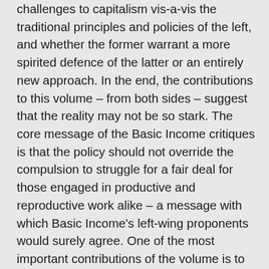challenges to capitalism vis-à-vis the traditional principles and policies of the left, and whether the former warrant a more spirited defence of the latter or an entirely new approach. In the end, the contributions to this volume – from both sides – suggest that the reality may not be so stark. The core message of the Basic Income critiques is that the policy should not override the compulsion to struggle for a fair deal for those engaged in productive and reproductive work alike – a message with which Basic Income's left-wing proponents would surely agree. One of the most important contributions of the volume is to affirm that indeed, the extent to which Basic Income should be seen as a radical alternative to comprehensive welfare provisions and expansive public services is based largely on a misconception / straw man that is not borne out by genuine scrutiny of the views of Basic Income's left-wing supporters. It is unfair to paint the latter with the same brush as the likes of Charles Murray and other